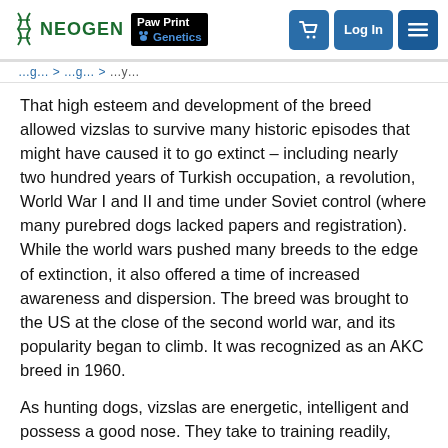NEOGEN Paw Print Genetics
That high esteem and development of the breed allowed vizslas to survive many historic episodes that might have caused it to go extinct – including nearly two hundred years of Turkish occupation, a revolution, World War I and II and time under Soviet control (where many purebred dogs lacked papers and registration). While the world wars pushed many breeds to the edge of extinction, it also offered a time of increased awareness and dispersion. The breed was brought to the US at the close of the second world war, and its popularity began to climb. It was recognized as an AKC breed in 1960.
As hunting dogs, vizslas are energetic, intelligent and possess a good nose. They take to training readily, especially if delivered in a gentle but firm and consistent manner. They thrive on attention and want